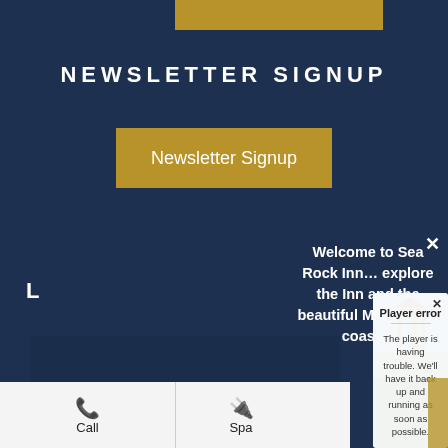[Figure (screenshot): Gold/tan colored horizontal bar at top center of dark navy blue page]
NEWSLETTER SIGNUP
Newsletter Signup
Welcome to Sea Rock Inn… explore the Inn and the beautiful Mendocino coast…
L
[Figure (screenshot): Error dialog overlaying a scenic coastal photo with wooden structure. Title: Player error. Body: The player is having trouble. We'll have it back up and running as soon as possible.]
Player error
The player is having trouble. We'll have it back up and running as soon as possible.
Call
Spa